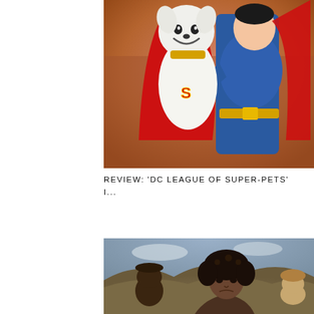[Figure (photo): Animated movie still from DC League of Super-Pets showing a white dog in a red superhero cape with gold collar being held up by Superman in blue suit and red cape, against a warm blurred background.]
REVIEW: ‘DC LEAGUE OF SUPER-PETS’ I...
[Figure (photo): Live-action film still showing a young Black woman with natural curly hair in the foreground, with two other people partially visible behind her, against an outdoor rocky/desert landscape background.]